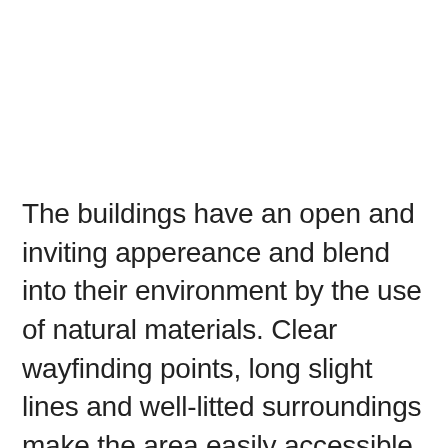The buildings have an open and inviting appereance and blend into their environment by the use of natural materials. Clear wayfinding points, long slight lines and well-litted surroundings make the area easily accessible and allow residents to feel safe. Residents can choose to be a part of the neighbourhood's hustle and bustle or sit peacefully in a tranquil place. There are various paths to wander around, whether on foot, in a wheelchair or on a bicycle. In the public space, sport and play are fully